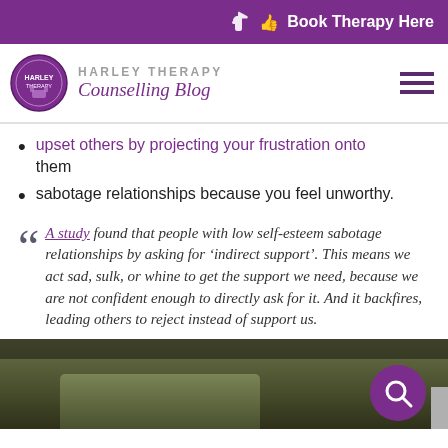Book Therapy Here
HARLEY THERAPY Counselling Blog
upset others by projecting your frustration onto them
sabotage relationships because you feel unworthy.
A study found that people with low self-esteem sabotage relationships by asking for ‘indirect support’. This means we act sad, sulk, or whine to get the support we need, because we are not confident enough to directly ask for it. And it backfires, leading others to reject instead of support us.
[Figure (photo): A dark interior room photo showing a table or furniture, with a purple circular search button overlay in the bottom right corner.]